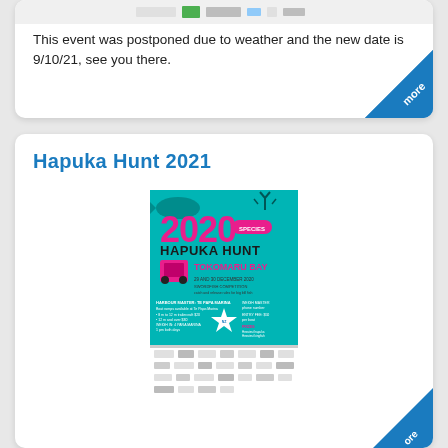[Figure (illustration): Sponsor logo bar at top of first card]
This event was postponed due to weather and the new date is 9/10/21, see you there.
Hapuka Hunt 2021
[Figure (illustration): 2020 Hapuka Hunt Tokomaru Bay event poster - teal background with pink text, fish and deer graphics, sponsor logos at bottom]